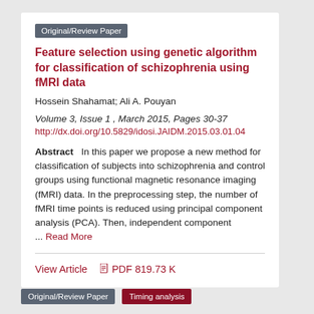Original/Review Paper
Feature selection using genetic algorithm for classification of schizophrenia using fMRI data
Hossein Shahamat; Ali A. Pouyan
Volume 3, Issue 1 , March 2015, Pages 30-37
http://dx.doi.org/10.5829/idosi.JAIDM.2015.03.01.04
Abstract   In this paper we propose a new method for classification of subjects into schizophrenia and control groups using functional magnetic resonance imaging (fMRI) data. In the preprocessing step, the number of fMRI time points is reduced using principal component analysis (PCA). Then, independent component ... Read More
View Article     PDF 819.73 K
Original/Review Paper
Timing analysis